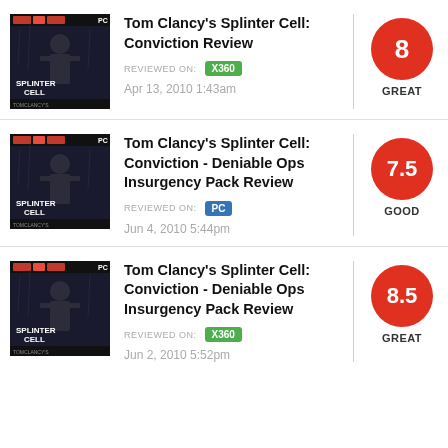[Figure (screenshot): Tom Clancy's Splinter Cell: Conviction game box art - dark figure in action pose]
Tom Clancy's Splinter Cell: Conviction Review
REVIEWED ON: X360
Apr 13, 2010 1:43am
8 GREAT
[Figure (screenshot): Tom Clancy's Splinter Cell: Conviction game box art - dark figure in action pose]
Tom Clancy's Splinter Cell: Conviction - Deniable Ops Insurgency Pack Review
REVIEWED ON: PC
Jun 4, 2010 5:44pm
7.5 GOOD
[Figure (screenshot): Tom Clancy's Splinter Cell: Conviction game box art - dark figure in action pose]
Tom Clancy's Splinter Cell: Conviction - Deniable Ops Insurgency Pack Review
REVIEWED ON: X360
Jun 2, 2010 5:52pm
8.5 GREAT